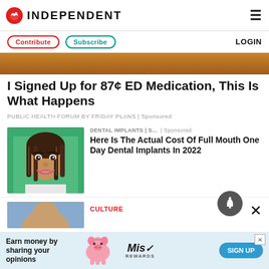INDEPENDENT
Contribute  Subscribe  LOGIN
[Figure (photo): Partial view of a brown wooden surface, top of a hero image]
I Signed Up for 87¢ ED Medication, This Is What Happens
PUBLIC HEALTH FORUM BY FRIDAY PLANS | Sponsored
[Figure (photo): Smiling young woman with braided hair on green background]
DENTAL IMPLANTS | S...  | Sponsored
Here Is The Actual Cost Of Full Mouth One Day Dental Implants In 2022
CULTURE
[Figure (photo): Partial view of a person, culture section preview]
Earn money by sharing your opinions  SIGN UP